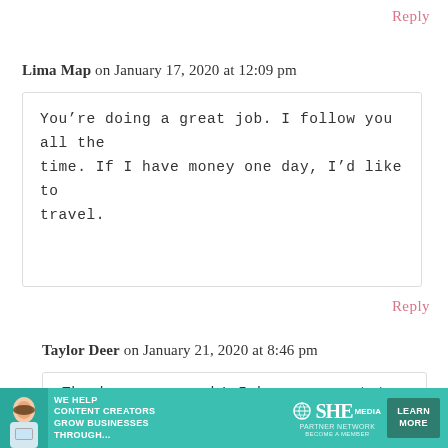Reply
Lima Map on January 17, 2020 at 12:09 pm
You’re doing a great job. I follow you all the time. If I have money one day, I’d like to travel.
Reply
Taylor Deer on January 21, 2020 at 8:46 pm
Thank you so much! I hope you get to travel soon! 🙂
[Figure (infographic): Advertisement banner for SHE Media Partner Network. Green background with woman photo, text: WE HELP CONTENT CREATORS GROW BUSINESSES THROUGH... with SHE Partner Network logo and LEARN MORE button.]